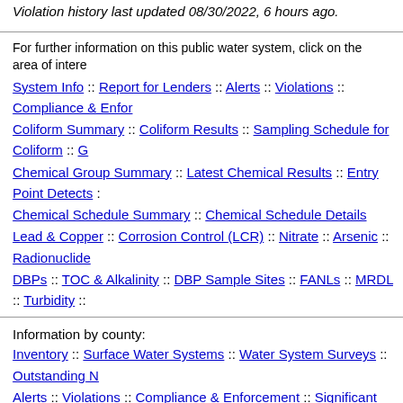Violation history last updated 08/30/2022, 6 hours ago.
For further information on this public water system, click on the area of interest:
System Info :: Report for Lenders :: Alerts :: Violations :: Compliance & Enforcement :: Coliform Summary :: Coliform Results :: Sampling Schedule for Coliform :: Chemical Group Summary :: Latest Chemical Results :: Entry Point Detects :: Chemical Schedule Summary :: Chemical Schedule Details :: Lead & Copper :: Corrosion Control (LCR) :: Nitrate :: Arsenic :: Radionuclides :: DBPs :: TOC & Alkalinity :: DBP Sample Sites :: FANLs :: MRDL :: Turbidity ::
Information by county:
Inventory :: Surface Water Systems :: Water System Surveys :: Outstanding Notable :: Alerts :: Violations :: Compliance & Enforcement :: Significant Deficiencies :: Water Advisories :: Contact Reports :: Cyanotoxins :: PFAS :: Post-wildfire Volatile Organics
Inventory List for all Oregon Drinking Water Systems in Excel or printable screen format :: Tools for Laboratories :: Staff/Partner Login
Introduction :: Data Search Options :: Water System Search :: DWS Home